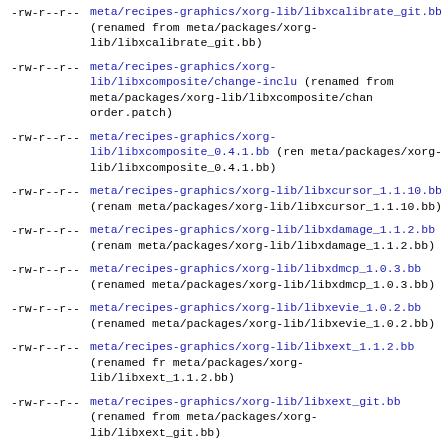-rw-r--r-- meta/recipes-graphics/xorg-lib/libxcalibrate_git.bb (renamed from meta/packages/xorg-lib/libxcalibrate_git.bb)
-rw-r--r-- meta/recipes-graphics/xorg-lib/libxcomposite/change-include (renamed from meta/packages/xorg-lib/libxcomposite/chan...order.patch)
-rw-r--r-- meta/recipes-graphics/xorg-lib/libxcomposite_0.4.1.bb (renamed from meta/packages/xorg-lib/libxcomposite_0.4.1.bb)
-rw-r--r-- meta/recipes-graphics/xorg-lib/libxcursor_1.1.10.bb (renamed from meta/packages/xorg-lib/libxcursor_1.1.10.bb)
-rw-r--r-- meta/recipes-graphics/xorg-lib/libxdamage_1.1.2.bb (renamed from meta/packages/xorg-lib/libxdamage_1.1.2.bb)
-rw-r--r-- meta/recipes-graphics/xorg-lib/libxdmcp_1.0.3.bb (renamed from meta/packages/xorg-lib/libxdmcp_1.0.3.bb)
-rw-r--r-- meta/recipes-graphics/xorg-lib/libxevie_1.0.2.bb (renamed from meta/packages/xorg-lib/libxevie_1.0.2.bb)
-rw-r--r-- meta/recipes-graphics/xorg-lib/libxext_1.1.2.bb (renamed from meta/packages/xorg-lib/libxext_1.1.2.bb)
-rw-r--r-- meta/recipes-graphics/xorg-lib/libxext_git.bb (renamed from meta/packages/xorg-lib/libxext_git.bb)
-rw-r--r-- meta/recipes-graphics/xorg-lib/libxfixes_4.0.4.bb (renamed from meta/packages/xorg-lib/libxfixes_4.0.4.bb)
-rw-r--r-- meta/recipes-graphics/xorg-lib/libxfont/no-scalable-crash.patch (renamed from meta/packages/xorg-lib/libxfont/no-scalable-crash.patch)
-rw-r--r-- meta/recipes-graphics/xorg-lib/libxfont_1.4.2.bb (renamed from meta/packages/xorg-lib/libxfont_1.4.2.bb)
-rw-r--r-- meta/recipes-graphics/xorg-lib/libxfontcache_1.0.5.bb (renamed from meta/packages/xorg-lib/libxfontcache_1.0.5.bb)